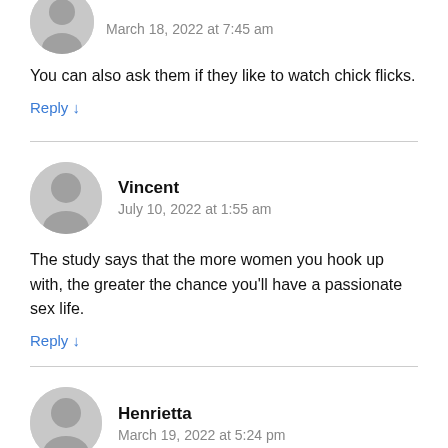[Figure (illustration): Grey avatar icon (partial, top cropped)]
March 18, 2022 at 7:45 am
You can also ask them if they like to watch chick flicks.
Reply ↓
Vincent
July 10, 2022 at 1:55 am
The study says that the more women you hook up with, the greater the chance you'll have a passionate sex life.
Reply ↓
[Figure (illustration): Grey avatar icon for Henrietta]
Henrietta
March 19, 2022 at 5:24 pm